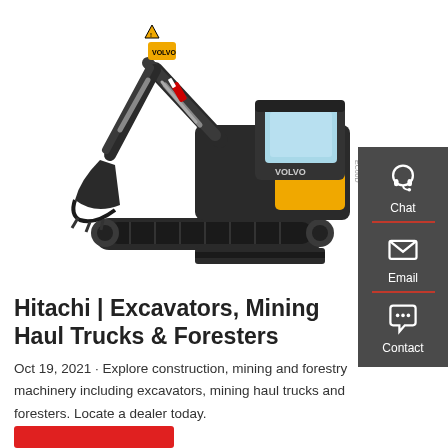[Figure (photo): Volvo E160B compact excavator, black and yellow, on white background, with arm extended and bucket lowered]
[Figure (infographic): Dark gray sidebar with Chat (headset icon), Email (envelope icon), and Contact (speech bubble icon) buttons separated by red dividers]
Hitachi | Excavators, Mining Haul Trucks & Foresters
Oct 19, 2021 · Explore construction, mining and forestry machinery including excavators, mining haul trucks and foresters. Locate a dealer today.